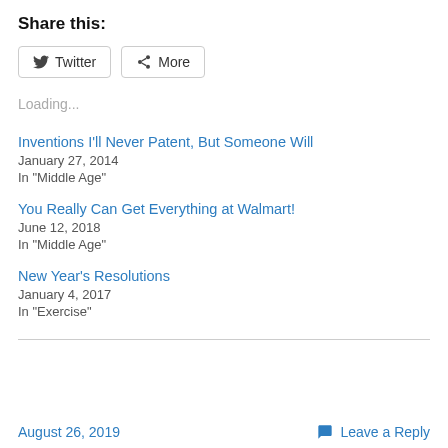Share this:
[Figure (other): Twitter and More share buttons]
Loading...
Inventions I'll Never Patent, But Someone Will
January 27, 2014
In "Middle Age"
You Really Can Get Everything at Walmart!
June 12, 2018
In "Middle Age"
New Year's Resolutions
January 4, 2017
In "Exercise"
August 26, 2019   Leave a Reply